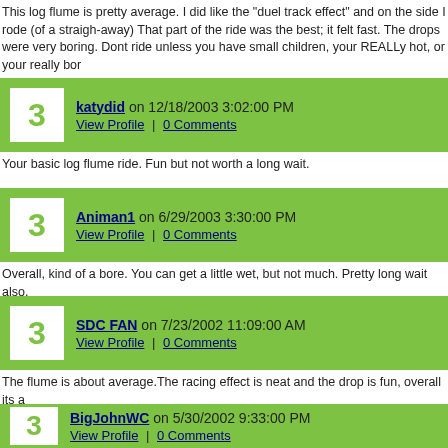This log flume is pretty average. I did like the "duel track effect" and on the side I rode (of a straigh-away) That part of the ride was the best; it felt fast. The drops were very boring. Dont ride unless you have small children, your REALLy hot, or your really bor
katydid on 12/18/2003 3:02:00 PM
View Profile | 0 Comments
Your basic log flume ride. Fun but not worth a long wait.
Animan1 on 6/29/2003 3:30:00 PM
View Profile | 0 Comments
Overall, kind of a bore. You can get a little wet, but not much. Pretty long wait also.
SDC FAN on 7/23/2002 11:09:00 AM
View Profile | 0 Comments
The flume is about average.The racing effect is neat and the drop is fun, overall its a
BigJohnWC on 5/30/2002 9:33:00 PM
View Profile | 0 Comments
Nice break and a cool off ... but just your basic log flume. Works GREAT in an Amuse surround in this Thrill Park. A little short overall, and the splashdown was a little a